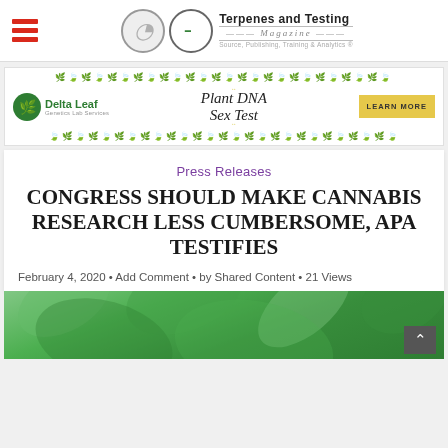Terpenes and Testing Magazine
[Figure (logo): Terpenes and Testing Magazine logo with cannabis leaf icon in circle, magazine name and tagline]
[Figure (infographic): Delta Leaf Plant DNA Sex Test advertisement banner with decorative cannabis leaf borders, Delta Leaf logo, Plant DNA Sex Test text, and Learn More button]
Press Releases
CONGRESS SHOULD MAKE CANNABIS RESEARCH LESS CUMBERSOME, APA TESTIFIES
February 4, 2020 • Add Comment • by Shared Content • 21 Views
[Figure (photo): Close-up photo of green cannabis plant leaves with back-to-top arrow button in lower right]